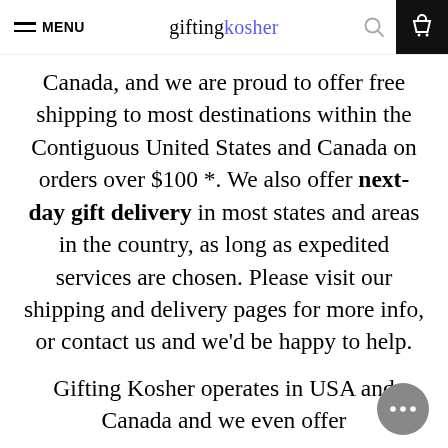MENU | giftingkosher
Canada, and we are proud to offer free shipping to most destinations within the Contiguous United States and Canada on orders over $100 *. We also offer next-day gift delivery in most states and areas in the country, as long as expedited services are chosen. Please visit our shipping and delivery pages for more info, or contact us and we'd be happy to help.
Gifting Kosher operates in USA and Canada and we even offer